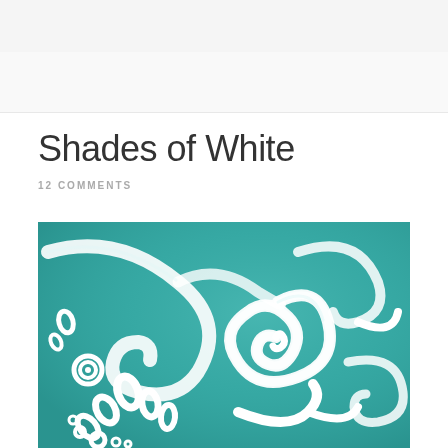Shades of White
12 COMMENTS
[Figure (illustration): Close-up of decorative art painting with white swirling, spiral, and teardrop flourish designs on a teal/turquoise background. The white paint has textured, raised strokes forming ornate flowing patterns including a large spiral center, smaller curling tendrils, teardrop shapes, and small circular bubbles.]